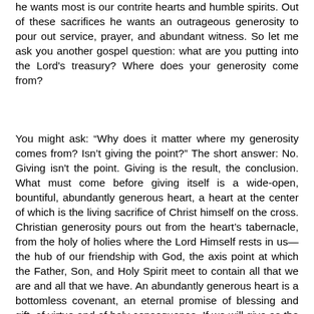he wants most is our contrite hearts and humble spirits. Out of these sacrifices he wants an outrageous generosity to pour out service, prayer, and abundant witness. So let me ask you another gospel question: what are you putting into the Lord's treasury? Where does your generosity come from?
You might ask: “Why does it matter where my generosity comes from? Isn’t giving the point?” The short answer: No. Giving isn't the point. Giving is the result, the conclusion. What must come before giving itself is a wide-open, bountiful, abundantly generous heart, a heart at the center of which is the living sacrifice of Christ himself on the cross. Christian generosity pours out from the heart’s tabernacle, from the holy of holies where the Lord Himself rests in us—the hub of our friendship with God, the axis point at which the Father, Son, and Holy Spirit meet to contain all that we are and all that we have. An abundantly generous heart is a bottomless covenant, an eternal promise of blessing and gift, of virtue and of holy consequence. If we will give as the widow does, we give a lot or often or graciously, we will give as God our Father gives: fully, freely, without price,